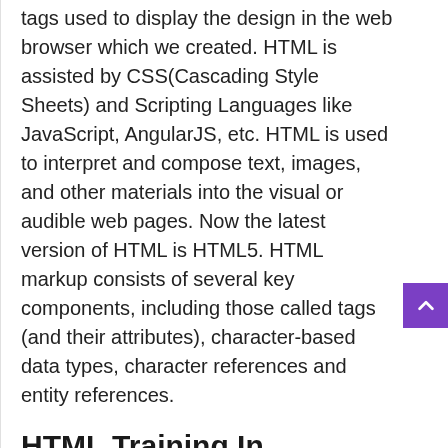tags used to display the design in the web browser which we created. HTML is assisted by CSS(Cascading Style Sheets) and Scripting Languages like JavaScript, AngularJS, etc. HTML is used to interpret and compose text, images, and other materials into the visual or audible web pages. Now the latest version of HTML is HTML5. HTML markup consists of several key components, including those called tags (and their attributes), character-based data types, character references and entity references.
HTML Training In Velachery Locations
Our HTML Training center